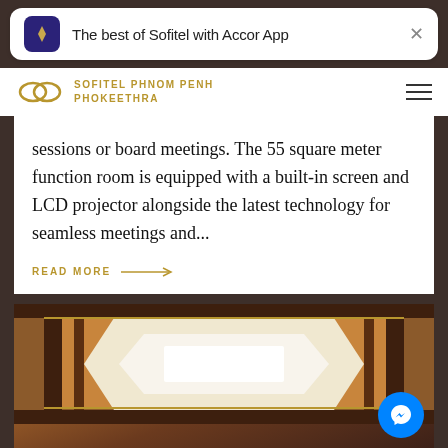The best of Sofitel with Accor App
SOFITEL PHNOM PENH PHOKEETHRA
sessions or board meetings. The 55 square meter function room is equipped with a built-in screen and LCD projector alongside the latest technology for seamless meetings and...
READ MORE
[Figure (photo): Interior ceiling view of a luxury hotel banquet hall with ornate golden and brown paneled ceiling featuring recessed lighting]